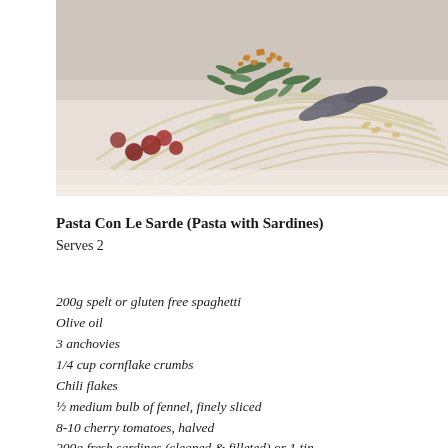[Figure (photo): Close-up food photography of pasta con le sarde — spaghetti dish with sardines, cherry tomatoes, fennel, herbs, and breadcrumbs on a light background]
Pasta Con Le Sarde (Pasta with Sardines)
Serves 2
200g spelt or gluten free spaghetti
Olive oil
3 anchovies
1/4 cup cornflake crumbs
Chili flakes
½ medium bulb of fennel, finely sliced
8-10 cherry tomatoes, halved
200g fresh sardines (cleaned & filleted) or 1 tin